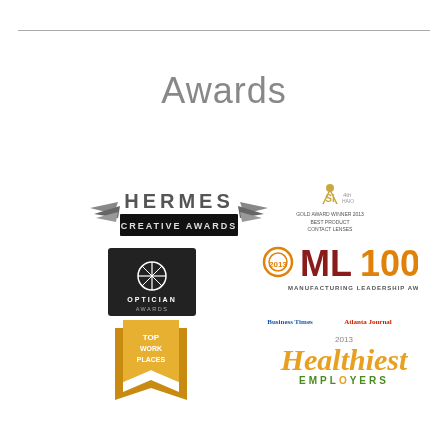Awards
[Figure (logo): Hermes Creative Awards logo — stylized chrome wings flanking the text HERMES, with a black banner reading CREATIVE AWARDS below]
[Figure (logo): SI (Silmo/SilmoD'or style) Gold Award Winner 2013, Best Product Contact Lenses — small golden trophy figure with text below]
[Figure (logo): Optician Awards logo — dark square badge with compass/star symbol and text OPTICIAN AWARDS]
[Figure (logo): ML100 Manufacturing Leadership Awards 2013 — large orange and dark red logo text OML100 with tagline MANUFACTURING LEADERSHIP AWARDS]
[Figure (logo): Top Work Places badge — gold/amber ribbon banner shape with text TOP WORK PLACES]
[Figure (logo): Healthiest Employers 2013 — Business Times and Atlanta Business Chronicle logos above stylized green/gold Healthiest EMPLOYERS text]